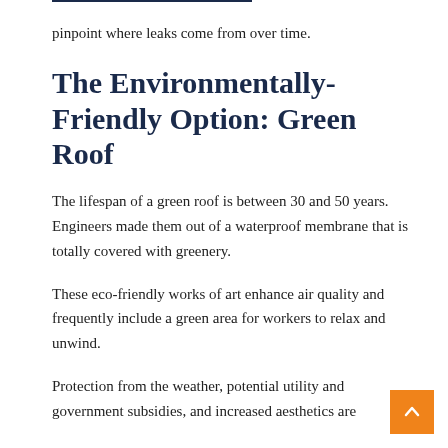pinpoint where leaks come from over time.
The Environmentally-Friendly Option: Green Roof
The lifespan of a green roof is between 30 and 50 years. Engineers made them out of a waterproof membrane that is totally covered with greenery.
These eco-friendly works of art enhance air quality and frequently include a green area for workers to relax and unwind.
Protection from the weather, potential utility and government subsidies, and increased aesthetics are